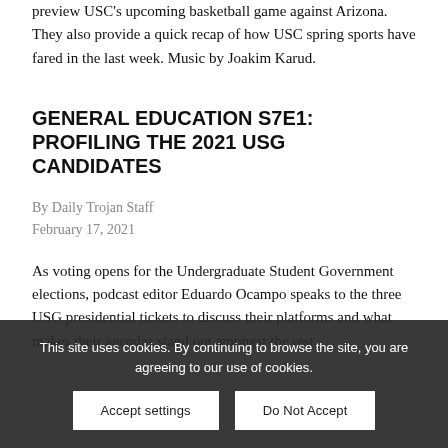preview USC's upcoming basketball game against Arizona. They also provide a quick recap of how USC spring sports have fared in the last week. Music by Joakim Karud.
GENERAL EDUCATION S7E1: PROFILING THE 2021 USG CANDIDATES
By Daily Trojan Staff
February 17, 2021
As voting opens for the Undergraduate Student Government elections, podcast editor Eduardo Ocampo speaks to the three USG presidential tickets to discuss their platforms and what makes their agendas stand out amongst the rest.
This site uses cookies. By continuing to browse the site, you are agreeing to our use of cookies.